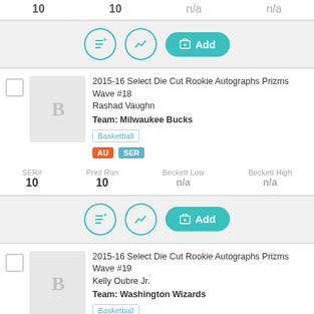10  10  n/a  n/a
[Figure (screenshot): Action bar with list icon, chart icon, and teal Add button]
2015-16 Select Die Cut Rookie Autographs Prizms Wave #18 Rashad Vaughn
Team: Milwaukee Bucks
Basketball  AU  SER
| SER# | Print Run | Beckett Low | Beckett High |
| --- | --- | --- | --- |
| 10 | 10 | n/a | n/a |
[Figure (screenshot): Action bar with list icon, chart icon, and teal Add button]
2015-16 Select Die Cut Rookie Autographs Prizms Wave #19 Kelly Oubre Jr.
Team: Washington Wizards
Basketball  AU  SER
We use cookies to help personalize content, tailor and measure ads, and provide a safer experience. By navigating the site, you agree to the use of cookies to collect information about your visits on our site. Learn more.
Get Beckett on your mobile device.
[Figure (screenshot): Install App button with Apple logo in orange rounded rectangle]